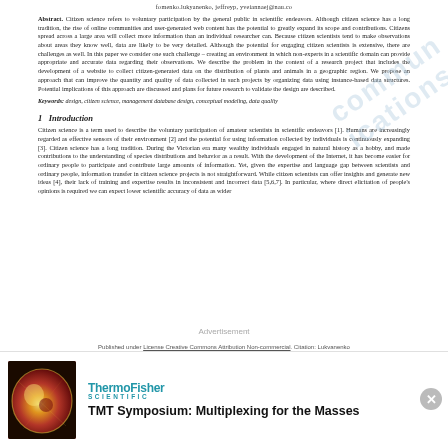fomenko.lukyanenko, jeffreyp, yveiannaej@nau.co
Abstract. Citizen science refers to voluntary participation by the general public in scientific endeavors. Although citizen science has a long tradition, the rise of online communities and user-generated web content has the potential to greatly expand its scope and contributions. Citizens spread across a large area will collect more information than an individual researcher can. Because citizen scientists tend to make observations about areas they know well, data are likely to be very detailed. Although the potential for engaging citizen scientists is extensive, there are challenges as well. In this paper we consider one such challenge – creating an environment in which non-experts in a scientific domain can provide appropriate and accurate data regarding their observations. We describe the problem in the context of a research project that includes the development of a website to collect citizen-generated data on the distribution of plants and animals in a geographic region. We propose an approach that can improve the quantity and quality of data collected in such projects by organizing data using instance-based data structures. Potential implications of this approach are discussed and plans for future research to validate the design are described.
Keywords: design, citizen science, management database design, conceptual modeling, data quality
1 Introduction
Citizen science is a term used to describe the voluntary participation of amateur scientists in scientific endeavors [1]. Humans are increasingly regarded as effective sensors of their environment [2] and the potential for using information collected by individuals is continuously expanding [3]. Citizen science has a long tradition. During the Victorian era many wealthy individuals engaged in natural history as a hobby, and made contributions to the understanding of species distributions and behavior as a result. With the development of the Internet, it has become easier for ordinary people to participate and contribute large amounts of information. Yet, given the expertise and language gap between scientists and ordinary people, information transfer in citizen science projects is not straightforward. While citizen scientists can offer insights and generate new ideas [4], their lack of training and expertise results in inconsistent and incorrect data [5,6,7]. In particular, where direct elicitation of people's opinions is required we can expect lower scientific accuracy of data as wider
Advertisement
Published under License Creative Commons Attribution Non-commercial. Citation: Lukvanenko
[Figure (photo): ThermoFisher Scientific advertisement with a cell/sphere image and text: TMT Symposium: Multiplexing for the Masses]